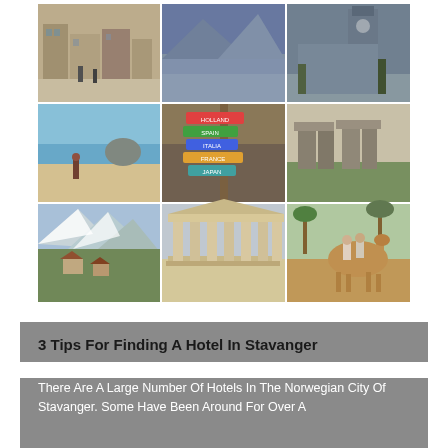[Figure (photo): 3x3 grid of travel photos showing various destinations: European city street, mountain lake, Gothic building/castle, beach with person, colorful direction signpost, Stonehenge-like monoliths, Alpine mountain valley, Greek temple/Parthenon columns, people riding camel]
3 Tips For Finding A Hotel In Stavanger
There Are A Large Number Of Hotels In The Norwegian City Of Stavanger. Some Have Been Around For Over A